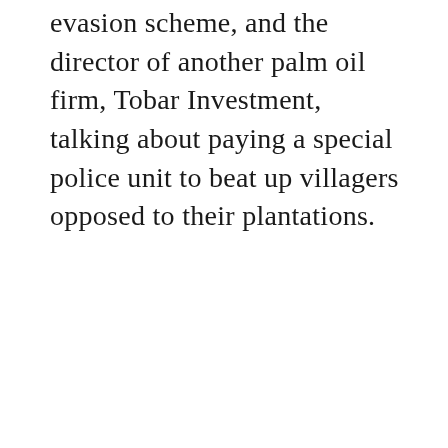evasion scheme, and the director of another palm oil firm, Tobar Investment, talking about paying a special police unit to beat up villagers opposed to their plantations.